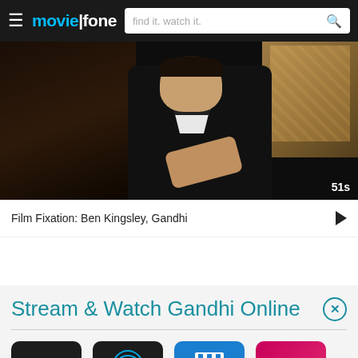moviefone — find it. watch it.
[Figure (screenshot): Video thumbnail showing a man in a dark suit and bow tie from the film Gandhi, with ornate wall decor in the background. Timer shows 51s in bottom right corner.]
Film Fixation: Ben Kingsley, Gandhi
Stream & Watch Gandhi Online
[Figure (other): Row of streaming service icons: Apple TV, AT&T, Vudu (clapperboard icon), Redbox]